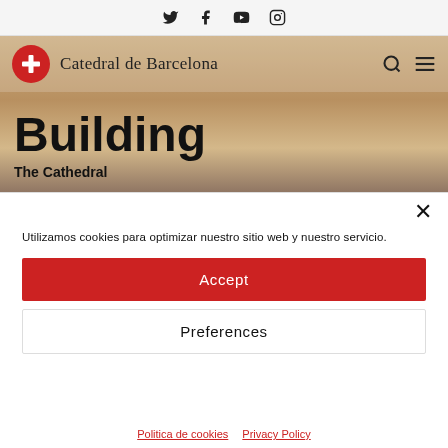Twitter Facebook YouTube Instagram (social icons)
[Figure (logo): Catedral de Barcelona logo with red cross circle and site name text]
Building
The Cathedral
Utilizamos cookies para optimizar nuestro sitio web y nuestro servicio.
Accept
Preferences
Politica de cookies   Privacy Policy